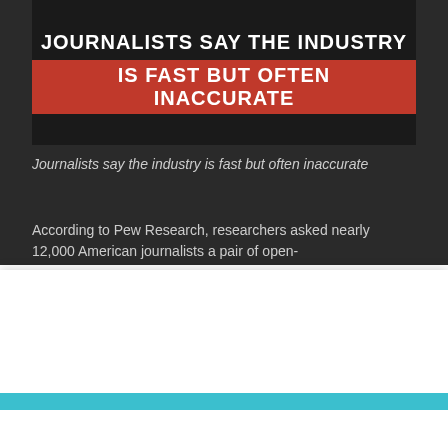[Figure (screenshot): Dark banner image with text: JOURNALISTS SAY THE INDUSTRY IS FAST BUT OFTEN INACCURATE, second line on red background]
Journalists say the industry is fast but often inaccurate
According to Pew Research, researchers asked nearly 12,000 American journalists a pair of open-
We use cookies to personalise content and ads, to provide social media features and to analyse our traffic. We also share information about your use of our site with our social media, advertising and analytics partners who may combine it with other information that you've provided to them or that they've collected from your use of their services. You consent to our cookies if you continue to use our website.
I AGREE